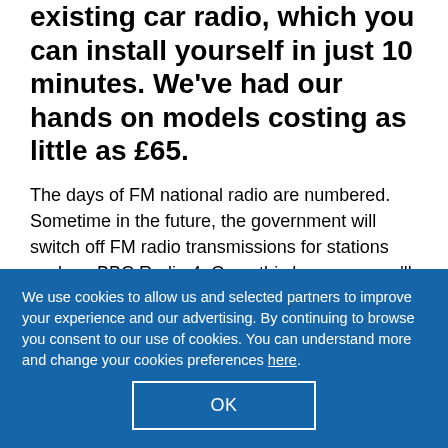existing car radio, which you can install yourself in just 10 minutes. We've had our hands on models costing as little as £65.
The days of FM national radio are numbered. Sometime in the future, the government will switch off FM radio transmissions for stations such as BBC Radio 4. Once this happens, you'll need to switch to digital radio instead.
With digital radio you also benefit from higher
We use cookies to allow us and selected partners to improve your experience and our advertising. By continuing to browse you consent to our use of cookies. You can understand more and change your cookies preferences here.
OK